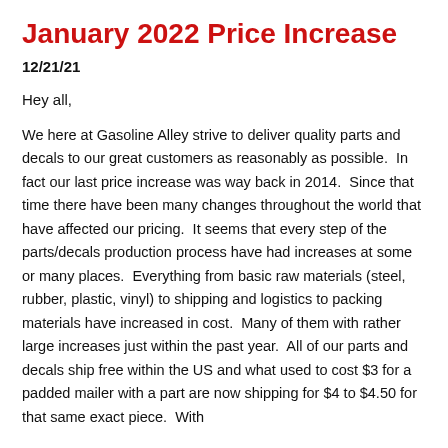January 2022 Price Increase
12/21/21
Hey all,
We here at Gasoline Alley strive to deliver quality parts and decals to our great customers as reasonably as possible. In fact our last price increase was way back in 2014. Since that time there have been many changes throughout the world that have affected our pricing. It seems that every step of the parts/decals production process have had increases at some or many places. Everything from basic raw materials (steel, rubber, plastic, vinyl) to shipping and logistics to packing materials have increased in cost. Many of them with rather large increases just within the past year. All of our parts and decals ship free within the US and what used to cost $3 for a padded mailer with a part are now shipping for $4 to $4.50 for that same exact piece. With